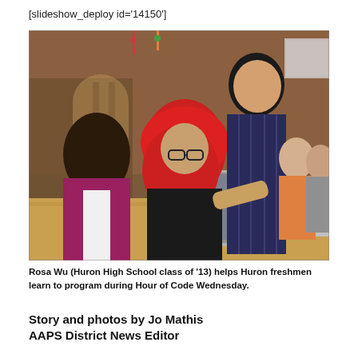[slideshow_deploy id='14150']
[Figure (photo): Rosa Wu (Huron High School class of '13) helps Huron freshmen learn to program during Hour of Code Wednesday. Three students are shown at a library table working on a laptop, with more students visible in the background.]
Rosa Wu (Huron High School class of '13) helps Huron freshmen learn to program during Hour of Code Wednesday.
Story and photos by Jo Mathis
AAPS District News Editor